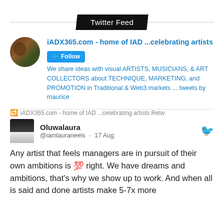Twitter Feed
[Figure (screenshot): Twitter account card for iADX365.com - home of IAD ...celebrating artists with a Follow button and description about sharing ideas with visual artists, musicians, and art collectors]
iADX365.com - home of IAD ...celebrating artists We share ideas with visual ARTISTS, MUSICIANS, & ART COLLECTORS about TECHNIQUE, MARKETING, and PROMOTION in Traditional & Web3 markets ... tweets by maurice
iADX365.com - home of IAD ...celebrating artists Retw
[Figure (screenshot): Tweet by Oluwalaura @iamlauraneels on 17 Aug: Any artist that feels managers are in pursuit of their own ambitions is 💯 right. We have dreams and ambitions, that's why we show up to work. And when all is said and done artists make 5-7x more]
Oluwalaura @iamlauraneels · 17 Aug
Any artist that feels managers are in pursuit of their own ambitions is 💯 right. We have dreams and ambitions, that's why we show up to work. And when all is said and done artists make 5-7x more